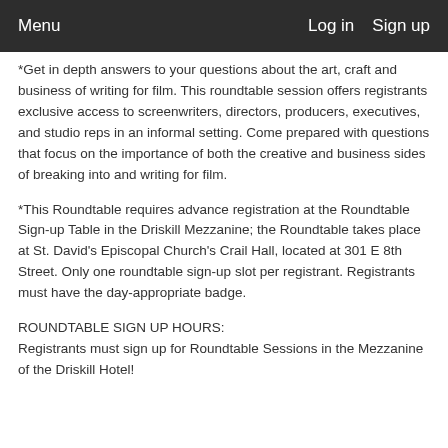Menu   Log in   Sign up
*Get in depth answers to your questions about the art, craft and business of writing for film. This roundtable session offers registrants exclusive access to screenwriters, directors, producers, executives, and studio reps in an informal setting. Come prepared with questions that focus on the importance of both the creative and business sides of breaking into and writing for film.
*This Roundtable requires advance registration at the Roundtable Sign-up Table in the Driskill Mezzanine; the Roundtable takes place at St. David's Episcopal Church's Crail Hall, located at 301 E 8th Street. Only one roundtable sign-up slot per registrant. Registrants must have the day-appropriate badge.
ROUNDTABLE SIGN UP HOURS:
Registrants must sign up for Roundtable Sessions in the Mezzanine of the Driskill Hotel!